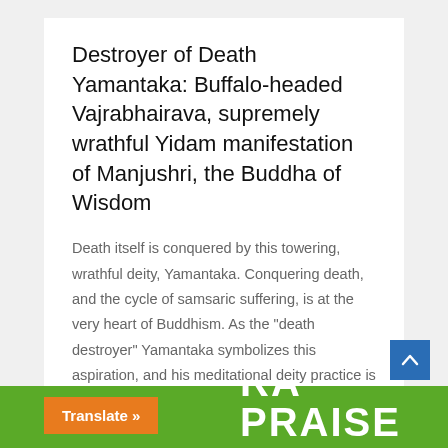Destroyer of Death Yamantaka: Buffalo-headed Vajrabhairava, supremely wrathful Yidam manifestation of Manjushri, the Buddha of Wisdom
Death itself is conquered by this towering, wrathful deity, Yamantaka. Conquering death, and the cycle of samsaric suffering, is at the very heart of Buddhism. As the "death destroyer" Yamantaka symbolizes this aspiration, and his meditational deity practice is designed to achieve that goal. No deity is more misunderstood than the buffalo-headed...
Read More
Deities / Tantra / Vajrayana
[Figure (other): Bottom banner with green background showing partial text 'PRAISE' in large white bold letters, with an orange 'Translate »' button on the left, and a blue scroll-to-top arrow button on the right side above the banner.]